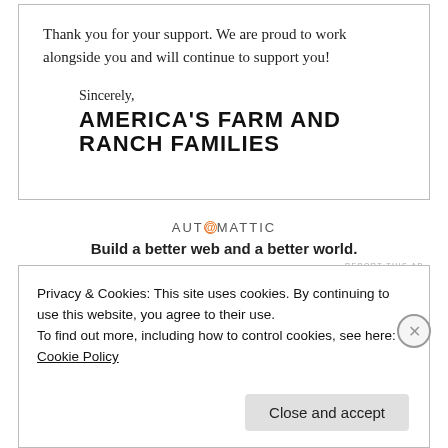Thank you for your support. We are proud to work alongside you and will continue to support you!
Sincerely,
AMERICA'S FARM AND RANCH FAMILIES
[Figure (logo): Automattic logo with tagline: Build a better web and a better world.]
REPORT THIS AD
Privacy & Cookies: This site uses cookies. By continuing to use this website, you agree to their use.
To find out more, including how to control cookies, see here: Cookie Policy
Close and accept